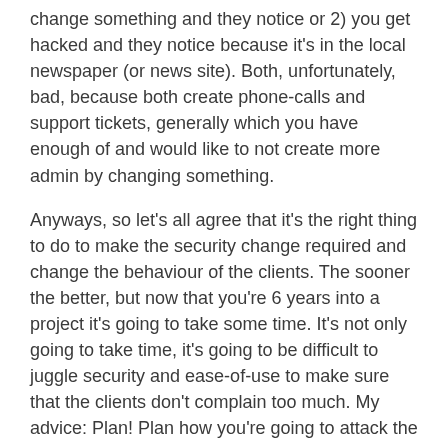change something and they notice or 2) you get hacked and they notice because it's in the local newspaper (or news site). Both, unfortunately, bad, because both create phone-calls and support tickets, generally which you have enough of and would like to not create more admin by changing something.
Anyways, so let's all agree that it's the right thing to do to make the security change required and change the behaviour of the clients. The sooner the better, but now that you're 6 years into a project it's going to take some time. It's not only going to take time, it's going to be difficult to juggle security and ease-of-use to make sure that the clients don't complain too much. My advice: Plan! Plan how you're going to attack the problem, make sure you talk to your internal security specialists (or external consultants (or both)) to make sure you're doing the right thing. Then lay out your time-line and try to stick to it as close as possible.
All said and done, as Developer ultimately it's your responsibility to protect your client's data, including and very importantly, their passwords.
The view of the world from the perspective of the “Guy who notices the security hole”:
Now, to get to what the subject of the post is about. Let’s switch our